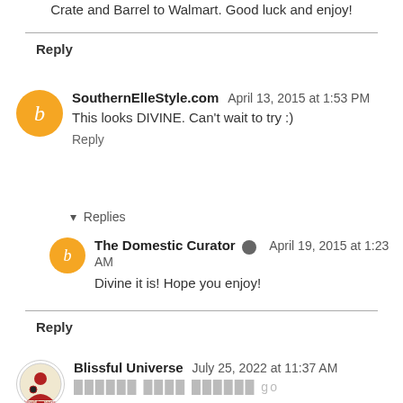Crate and Barrel to Walmart. Good luck and enjoy!
Reply
SouthernElleStyle.com  April 13, 2015 at 1:53 PM
This looks DIVINE. Can't wait to try :)
Reply
▾ Replies
The Domestic Curator  April 19, 2015 at 1:23 AM
Divine it is! Hope you enjoy!
Reply
Blissful Universe  July 25, 2022 at 11:37 AM